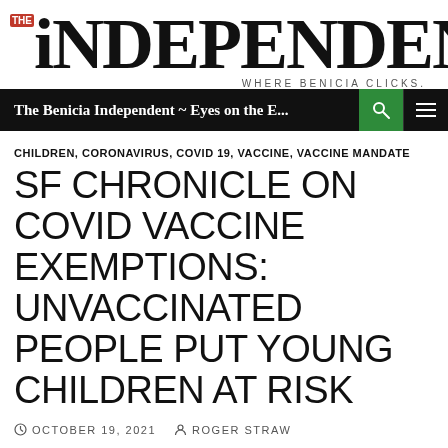THE iNDEPENDENT
WHERE BENICIA CLICKS.
The Benicia Independent ~ Eyes on the E...
CHILDREN, CORONAVIRUS, COVID 19, VACCINE, VACCINE MANDATE
SF CHRONICLE ON COVID VACCINE EXEMPTIONS: UNVACCINATED PEOPLE PUT YOUNG CHILDREN AT RISK
OCTOBER 19, 2021  ROGER STRAW